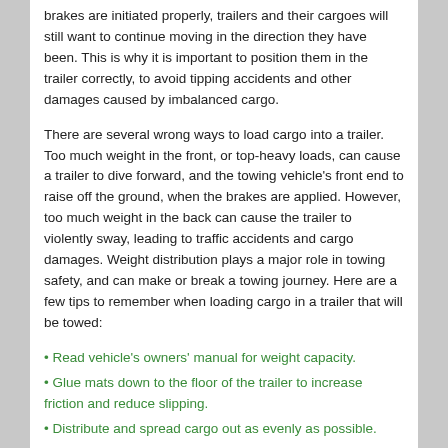brakes are initiated properly, trailers and their cargoes will still want to continue moving in the direction they have been. This is why it is important to position them in the trailer correctly, to avoid tipping accidents and other damages caused by imbalanced cargo.
There are several wrong ways to load cargo into a trailer. Too much weight in the front, or top-heavy loads, can cause a trailer to dive forward, and the towing vehicle's front end to raise off the ground, when the brakes are applied. However, too much weight in the back can cause the trailer to violently sway, leading to traffic accidents and cargo damages. Weight distribution plays a major role in towing safety, and can make or break a towing journey. Here are a few tips to remember when loading cargo in a trailer that will be towed:
• Read vehicle's owners' manual for weight capacity.
• Glue mats down to the floor of the trailer to increase friction and reduce slipping.
• Distribute and spread cargo out as evenly as possible.